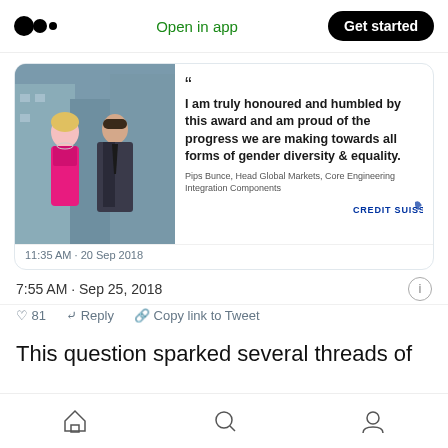Open in app  Get started
[Figure (screenshot): Embedded tweet card showing a photo of two people (woman in pink dress, man in dark suit) and a quote from Pips Bunce, Head Global Markets, Core Engineering Integration Components, Credit Suisse: 'I am truly honoured and humbled by this award and am proud of the progress we are making towards all forms of gender diversity & equality.' Timestamp: 11:35 AM - 20 Sep 2018]
7:55 AM · Sep 25, 2018
♡  81    Reply    Copy link to Tweet
This question sparked several threads of